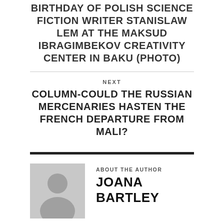BIRTHDAY OF POLISH SCIENCE FICTION WRITER STANISLAW LEM AT THE MAKSUD IBRAGIMBEKOV CREATIVITY CENTER IN BAKU (PHOTO)
NEXT
COLUMN-COULD THE RUSSIAN MERCENARIES HASTEN THE FRENCH DEPARTURE FROM MALI?
ABOUT THE AUTHOR
JOANA BARTLEY